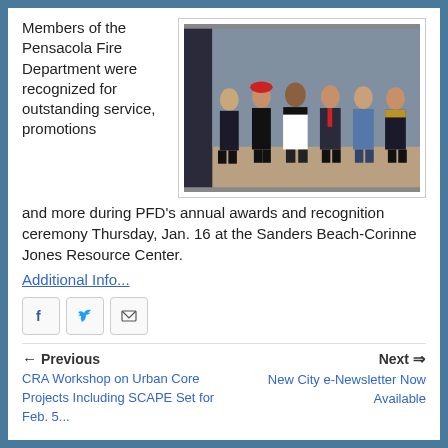Members of the Pensacola Fire Department were recognized for outstanding service, promotions and more during PFD's annual awards and recognition ceremony Thursday, Jan. 16 at the Sanders Beach-Corinne Jones Resource Center.
[Figure (photo): Group photo of six members of the Pensacola Fire Department in uniform, standing in a line indoors.]
Additional Info...
[Figure (infographic): Social sharing buttons: Facebook, Twitter, Email]
Previous
CRA Workshop on Urban Core Projects Including SCAPE Set for Feb. 5...
Next
New City e-Newsletter Now Available